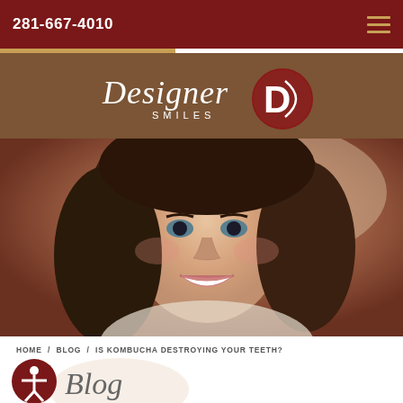281-667-4010
[Figure (logo): Designer Smiles logo with script text and D icon on brown background]
[Figure (photo): Young woman with dark hair smiling, showing white teeth, hero image]
HOME / BLOG / IS KOMBUCHA DESTROYING YOUR TEETH?
[Figure (illustration): Accessibility icon - person with arms out in circle]
Blog